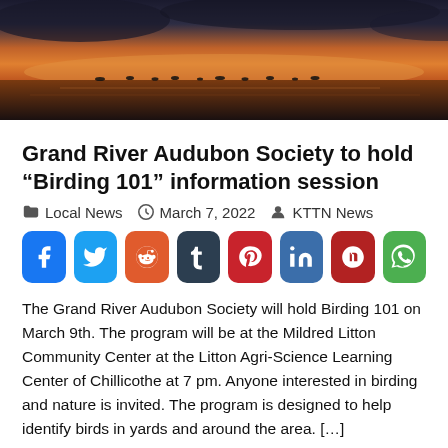[Figure (photo): Sunset or twilight landscape over water with silhouetted birds/objects on the horizon, orange and dark blue tones]
Grand River Audubon Society to hold “Birding 101” information session
Local News   March 7, 2022   KTTN News
[Figure (infographic): Row of social media share buttons: Facebook, Twitter, Reddit, Tumblr, Pinterest, LinkedIn, Parler, WhatsApp]
The Grand River Audubon Society will hold Birding 101 on March 9th. The program will be at the Mildred Litton Community Center at the Litton Agri-Science Learning Center of Chillicothe at 7 pm. Anyone interested in birding and nature is invited. The program is designed to help identify birds in yards and around the area. […]